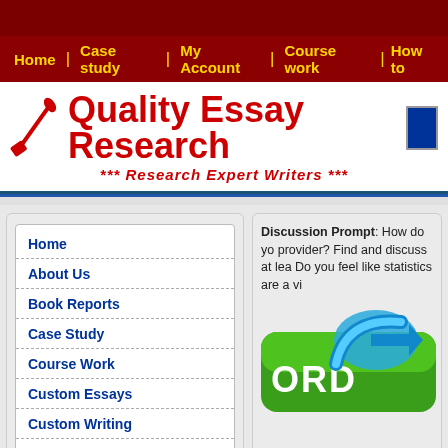Home | Case study | My Account | Course work | How to
Quality Essay Research
*** Research Expert Writers ***
Home
About Us
Book Reports
Case Study
Course Work
Custom Essays
Custom Writing
Dissertation Writing
Discussion Prompt: How do yo provider? Find and discuss at lea Do you feel like statistics are a vi
[Figure (illustration): Green order button with blue arrow icon]